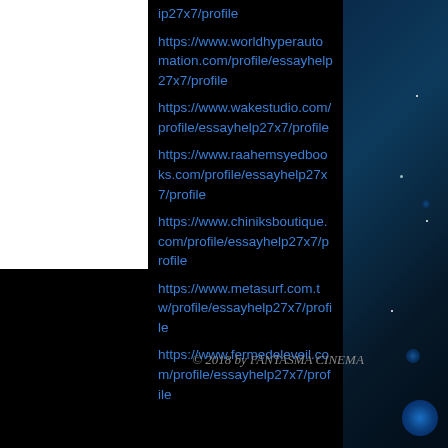ip27x7/profile
https://www.worldhyperautomation.com/profile/essayhelp27x7/profile
https://www.wakestudio.com/profile/essayhelp27x7/profile
https://www.raahemsyedbooks.com/profile/essayhelp27x7/profile
https://www.chiniksboutique.com/profile/essayhelp27x7/profile
https://www.metasurf.com.tw/profile/essayhelp27x7/profile
https://www.fermedeleveil.com/profile/essayhelp27x7/profile
© 2018 by FANTASMA CINEMA